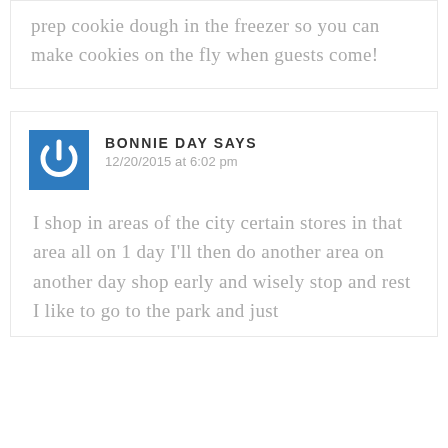prep cookie dough in the freezer so you can make cookies on the fly when guests come!
[Figure (logo): Blue square icon with white power button symbol]
BONNIE DAY SAYS
12/20/2015 at 6:02 pm
I shop in areas of the city certain stores in that area all on 1 day I'll then do another area on another day shop early and wisely stop and rest I like to go to the park and just